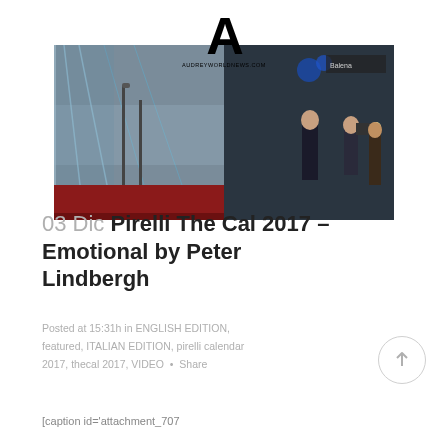[Figure (photo): Blog post header image showing a woman in a black dress on a red carpet event, with a large decorative backdrop on the left and people with cameras in the background. The AudreyWorldNews.com logo with a large 'A' is overlaid at the top center of the image.]
03 Dic Pirelli The Cal 2017 – Emotional by Peter Lindbergh
Posted at 15:31h in ENGLISH EDITION, featured, ITALIAN EDITION, pirelli calendar 2017, thecal 2017, VIDEO  •  Share
[caption id='attachment_707